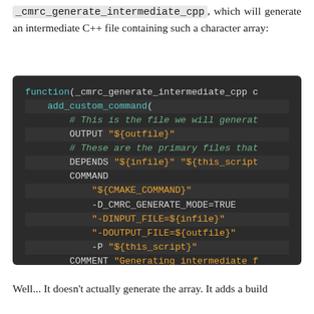_cmrc_generate_intermediate_cpp, which will generate an intermediate C++ file containing such a character array:
[Figure (screenshot): Dark-themed code block showing CMake function definition for _cmrc_generate_intermediate_cpp with add_custom_command containing OUTPUT, DEPENDS, COMMAND with cmake flags, and COMMENT parameters, followed by endfunction()]
Well... It doesn't actually generate the array. It adds a build